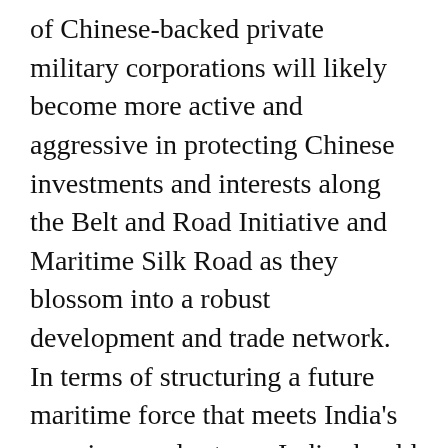of Chinese-backed private military corporations will likely become more active and aggressive in protecting Chinese investments and interests along the Belt and Road Initiative and Maritime Silk Road as they blossom into a robust development and trade network. In terms of structuring a future maritime force that meets India's growing needs at sea, India should be careful not to fall entirely into the trap of investing solely in conventional ships and other related platforms. The bureaucracy should also be enabled to support India's future naval modernization efforts. Though investing in